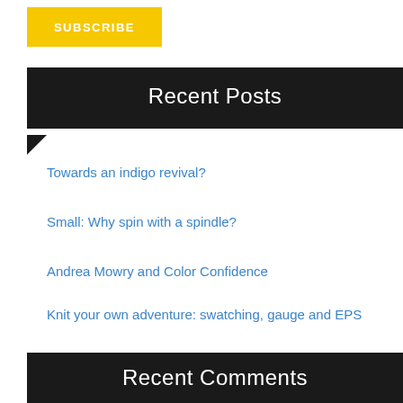[Figure (other): Yellow SUBSCRIBE button]
Recent Posts
Towards an indigo revival?
Small: Why spin with a spindle?
Andrea Mowry and Color Confidence
Knit your own adventure: swatching, gauge and EPS
But how much mordant do you *really* need?
Recent Comments